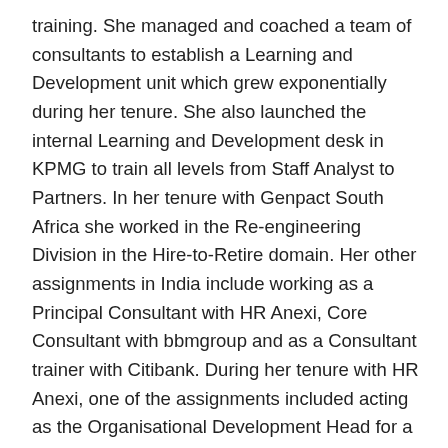training. She managed and coached a team of consultants to establish a Learning and Development unit which grew exponentially during her tenure. She also launched the internal Learning and Development desk in KPMG to train all levels from Staff Analyst to Partners. In her tenure with Genpact South Africa she worked in the Re-engineering Division in the Hire-to-Retire domain. Her other assignments in India include working as a Principal Consultant with HR Anexi, Core Consultant with bbmgroup and as a Consultant trainer with Citibank. During her tenure with HR Anexi, one of the assignments included acting as the Organisational Development Head for a mid-size pharmaceutical company for a period of six months. In her assignment as a Core Consultant with business behavior management group she conducted several Assessment and Development Centres as well as learning and development programs. In her two year consulting assignment with Citibank she pioneered a project for bridging the quality gap between the